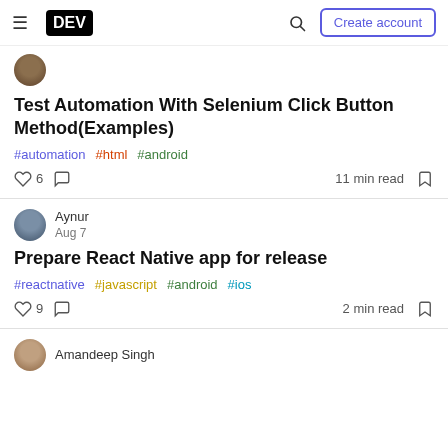DEV | Create account
Test Automation With Selenium Click Button Method(Examples)
#automation #html #android
6  11 min read
Aynur Aug 7
Prepare React Native app for release
#reactnative #javascript #android #ios
9  2 min read
Amandeep Singh